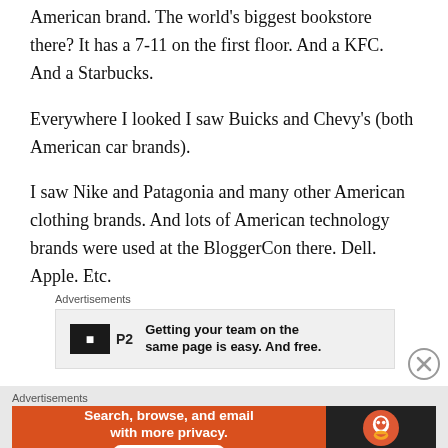American brand. The world's biggest bookstore there? It has a 7-11 on the first floor. And a KFC. And a Starbucks.
Everywhere I looked I saw Buicks and Chevy's (both American car brands).
I saw Nike and Patagonia and many other American clothing brands. And lots of American technology brands were used at the BloggerCon there. Dell. Apple. Etc.
Advertisements
[Figure (other): P2 advertisement banner: Getting your team on the same page is easy. And free.]
Advertisements
[Figure (other): DuckDuckGo advertisement: Search, browse, and email with more privacy. All in One Free App]